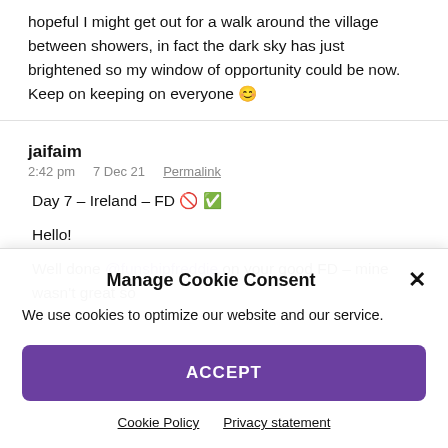hopeful I might get out for a walk around the village between showers, in fact the dark sky has just brightened so my window of opportunity could be now. Keep on keeping on everyone 😊
jaifaim
2:42 pm    7 Dec 21    Permalink
Day 7 – Ireland – FD 🚫 ✅
Hello!
Well done @funshipfreddie on your good FD – mine wasn't great so
Manage Cookie Consent
We use cookies to optimize our website and our service.
ACCEPT
Cookie Policy    Privacy statement